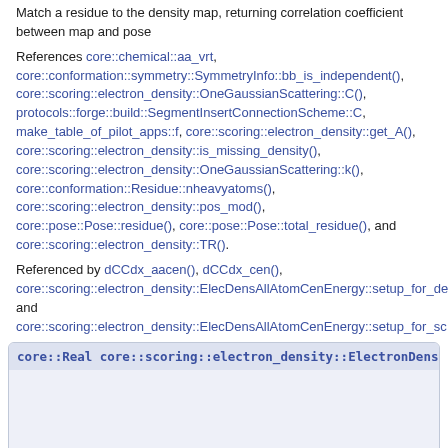Match a residue to the density map, returning correlation coefficient between map and pose
References core::chemical::aa_vrt, core::conformation::symmetry::SymmetryInfo::bb_is_independent(), core::scoring::electron_density::OneGaussianScattering::C(), protocols::forge::build::SegmentInsertConnectionScheme::C, make_table_of_pilot_apps::f, core::scoring::electron_density::get_A(), core::scoring::electron_density::is_missing_density(), core::scoring::electron_density::OneGaussianScattering::k(), core::conformation::Residue::nheavyatoms(), core::scoring::electron_density::pos_mod(), core::pose::Pose::residue(), core::pose::Pose::total_residue(), and core::scoring::electron_density::TR().
Referenced by dCCdx_aacen(), dCCdx_cen(), core::scoring::electron_density::ElecDensAllAtomCenEnergy::setup_for_de and core::scoring::electron_density::ElecDensAllAtomCenEnergy::setup_for_sc
core::Real core::scoring::electron_density::ElectronDensity::matchPoseTo
Match a pose to a patterson map.
Match pose to patterson map
References core::conformation::Residue::aa(), core::chemical::aa_vrt, core::conformation::Residue::atom(),